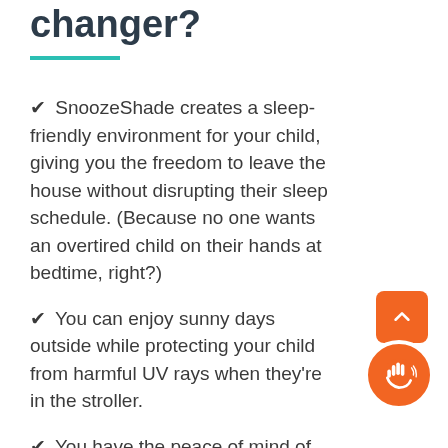changer?
SnoozeShade creates a sleep-friendly environment for your child, giving you the freedom to leave the house without disrupting their sleep schedule. (Because no one wants an overtired child on their hands at bedtime, right?)
You can enjoy sunny days outside while protecting your child from harmful UV rays when they're in the stroller.
You have the peace of mind of knowing our mesh is completely air-permeable – unlike a muslin or blanket draped over the pushchair.